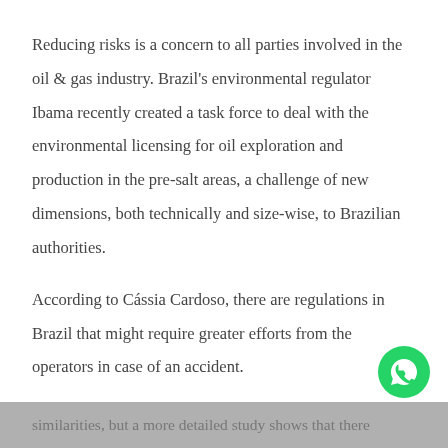Reducing risks is a concern to all parties involved in the oil & gas industry. Brazil's environmental regulator Ibama recently created a task force to deal with the environmental licensing for oil exploration and production in the pre-salt areas, a challenge of new dimensions, both technically and size-wise, to Brazilian authorities.
According to Cássia Cardoso, there are regulations in Brazil that might require greater efforts from the operators in case of an accident.
"The methodologies in Norway and Brazil have several similarities, but a more detailed study shows that there